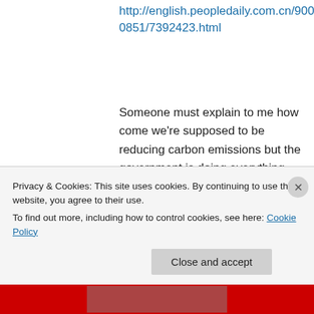http://english.peopledaily.com.cn/90001/90777/90851/7392423.html
Someone must explain to me how come we're supposed to be reducing carbon emissions but the government is doing everything possible to encourage coal and LNG exports. I thought it was meant to be illegal to sell harmful substances.
★ Like
Privacy & Cookies: This site uses cookies. By continuing to use this website, you agree to their use. To find out more, including how to control cookies, see here: Cookie Policy
Close and accept